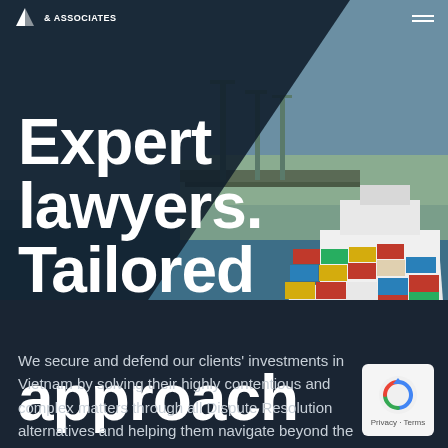& ASSOCIATES
[Figure (photo): Aerial photo of a large container ship loaded with colorful shipping containers at a port with cranes and water visible]
Expert lawyers. Tailored approach
We secure and defend our clients' investments in Vietnam by solving their highly contentious and complex matters through all Dispute Resolution alternatives and helping them navigate beyond the
[Figure (logo): Google reCAPTCHA privacy badge with blue recycle/arrow icon and Privacy - Terms text]